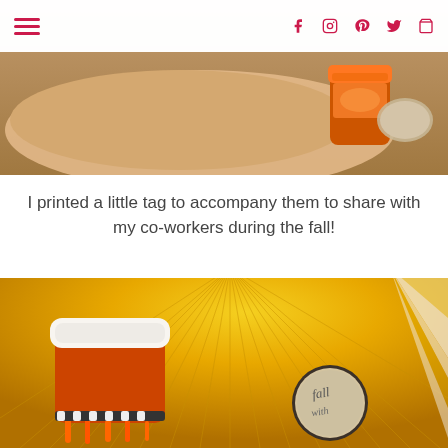Navigation hamburger menu and social icons (Facebook, Instagram, Pinterest, Twitter, Cart)
[Figure (photo): Close-up photo of hands holding small orange jars/containers with labels, on a wooden surface background]
I printed a little tag to accompany them to share with my co-workers during the fall!
[Figure (photo): Photo of an orange jar/container with white lid, decorated with black and white baker's twine, a round kraft paper tag with handwritten text, against a golden yellow paper fan backdrop]